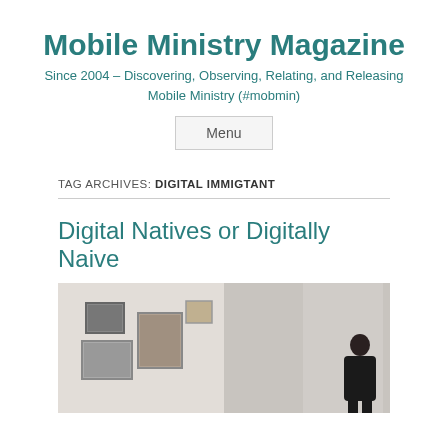Mobile Ministry Magazine
Since 2004 – Discovering, Observing, Relating, and Releasing Mobile Ministry (#mobmin)
Menu
TAG ARCHIVES: DIGITAL IMMIGTANT
Digital Natives or Digitally Naive
[Figure (photo): A room with framed artwork on a white wall on the left side and a person standing near a door on the right side, photograph in muted tones.]